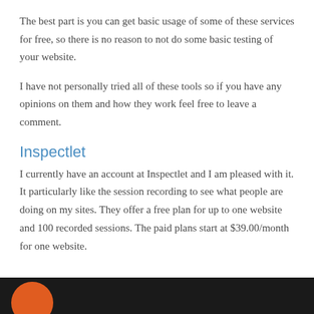The best part is you can get basic usage of some of these services for free, so there is no reason to not do some basic testing of your website.
I have not personally tried all of these tools so if you have any opinions on them and how they work feel free to leave a comment.
Inspectlet
I currently have an account at Inspectlet and I am pleased with it. It particularly like the session recording to see what people are doing on my sites. They offer a free plan for up to one website and 100 recorded sessions. The paid plans start at $39.00/month for one website.
[Figure (screenshot): Dark background image with an orange circular element visible at the bottom of the page, appears to be a screenshot of the Inspectlet interface.]